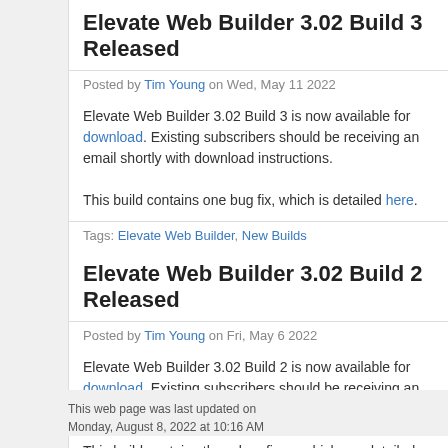Elevate Web Builder 3.02 Build 3 Released
Posted by Tim Young on Wed, May 11 2022
Elevate Web Builder 3.02 Build 3 is now available for download. Existing subscribers should be receiving an email shortly with download instructions.
This build contains one bug fix, which is detailed here.
Tags: Elevate Web Builder, New Builds
Elevate Web Builder 3.02 Build 2 Released
Posted by Tim Young on Fri, May 6 2022
Elevate Web Builder 3.02 Build 2 is now available for download. Existing subscribers should be receiving an email shortly with download instructions.
This build contains three bug fixes, which are detailed here.
Tags: Elevate Web Builder, New Builds
Previous Entries: 1-6 7-12 13-18 19-24 25-30 31-36 37-42 43-
This web page was last updated on Monday, August 8, 2022 at 10:16 AM